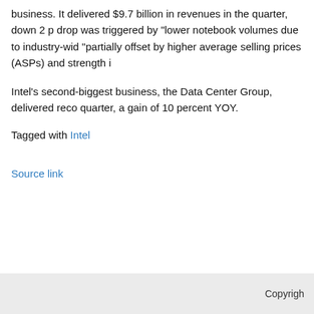business. It delivered $9.7 billion in revenues in the quarter, down 2 p drop was triggered by "lower notebook volumes due to industry-wid "partially offset by higher average selling prices (ASPs) and strength i
Intel's second-biggest business, the Data Center Group, delivered reco quarter, a gain of 10 percent YOY.
Tagged with Intel
Source link
Copyrigh